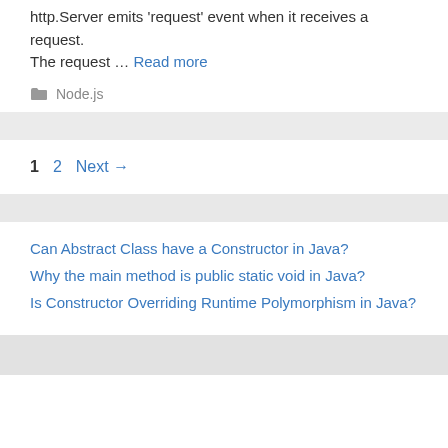http.Server emits 'request' event when it receives a request. The request … Read more
Node.js
1  2  Next →
Can Abstract Class have a Constructor in Java?
Why the main method is public static void in Java?
Is Constructor Overriding Runtime Polymorphism in Java?